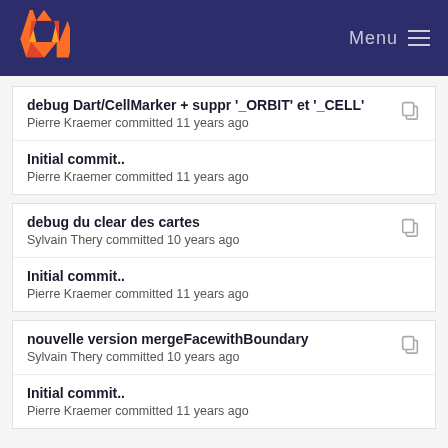GitLab Menu
debug Dart/CellMarker + suppr '_ORBIT' et '_CELL'
Pierre Kraemer committed 11 years ago
Initial commit..
Pierre Kraemer committed 11 years ago
debug du clear des cartes
Sylvain Thery committed 10 years ago
Initial commit..
Pierre Kraemer committed 11 years ago
nouvelle version mergeFacewithBoundary
Sylvain Thery committed 10 years ago
Initial commit..
Pierre Kraemer committed 11 years ago